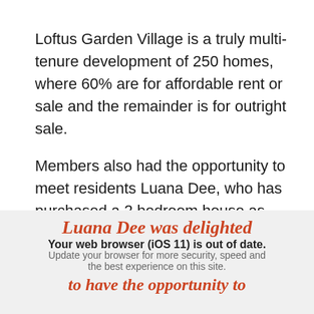Loftus Garden Village is a truly multi-tenure development of 250 homes, where 60% are for affordable rent or sale and the remainder is for outright sale.
Members also had the opportunity to meet residents Luana Dee, who has purchased a 2 bedroom house as part of the Loftus Garden Village cooperative and Jackie Holey who had bought an apartment.
Luana Dee was delighted
Your web browser (iOS 11) is out of date. Update your browser for more security, speed and the best experience on this site.
to have the opportunity to